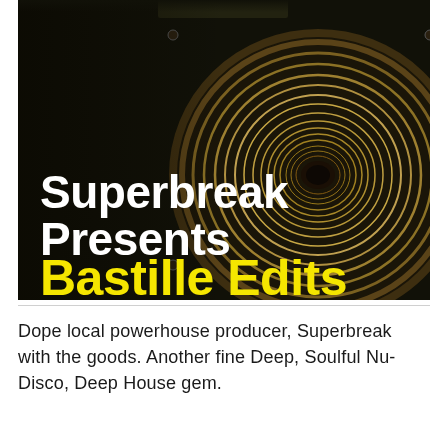[Figure (photo): Close-up photo of a large vintage speaker/subwoofer cone, dark metallic and golden-brown tones. Overlaid text reads 'Superbreak Presents Bastille Edits' with 'Superbreak Presents' in white bold font and 'Bastille Edits' in yellow bold font.]
Dope local powerhouse producer, Superbreak with the goods. Another fine Deep, Soulful Nu-Disco, Deep House gem.